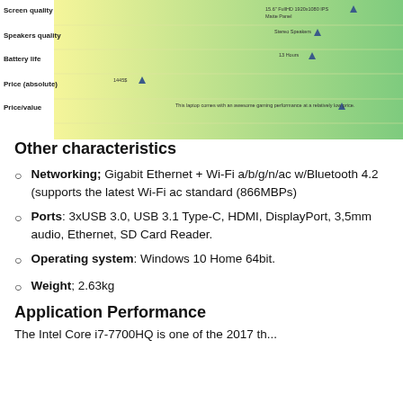[Figure (infographic): Partial chart showing laptop characteristics ratings including Screen quality, Speakers quality, Battery life, Price (absolute), and Price/value with gradient yellow-to-green background and triangle markers positioned along horizontal bars indicating scores/values.]
Other characteristics
Networking; Gigabit Ethernet + Wi-Fi a/b/g/n/ac w/Bluetooth 4.2 (supports the latest Wi-Fi ac standard (866MBPs)
Ports: 3xUSB 3.0, USB 3.1 Type-C, HDMI, DisplayPort, 3,5mm audio, Ethernet, SD Card Reader.
Operating system: Windows 10 Home 64bit.
Weight; 2.63kg
Application Performance
The Intel Core i7-7700HQ is one of the 2017 th...